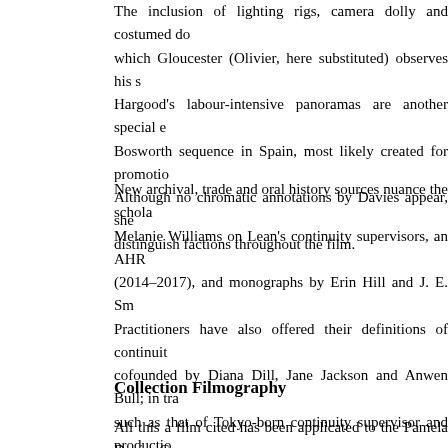The inclusion of lighting rigs, camera dolly and costumed do which Gloucester (Olivier, here substituted) observes his s Hargood's labour-intensive panoramas are another special e Bosworth sequence in Spain, most likely created for promotio Although no chromatic annotations by Davies appear, she distinguish factions throughout the film.
New archival, trade and oral history sources nuance the schola Melanie Williams on Lean's continuity supervisors, an AHR (2014–2017), and monographs by Erin Hill and J. E. Sm Practitioners have also offered their definitions of continuit cofounded by Diana Dill, Jane Jackson and Anwen Bull; in tra such as that of Tokyo-born continuity supervisor and productio Kurosawa. The Pamela Davies Collection makes several contr provide material clues about Davies' detailed examination of t collection underscores how continuity supervision and cine embody an underreported collaboration between continuity su and shaped her trade image. Fourthly, research into British considerable value in consulting the Pamela Davies Collectio be further strengthened by my three-fold approach to the autho
Collection Filmography
All this a film cited has been applicated to the Pamela Davies C